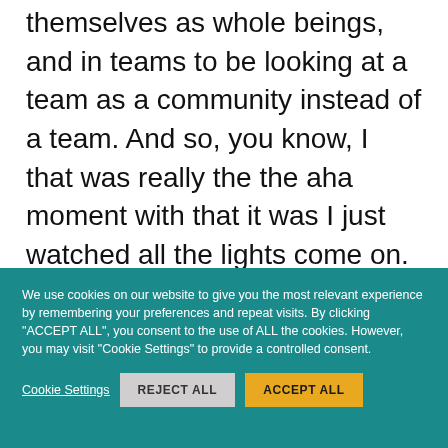themselves as whole beings, and in teams to be looking at a team as a community instead of a team. And so, you know, I that was really the the aha moment with that it was I just watched all the lights come on. And I watched people who looked a little robotic, and kind of on autopilot with themselves and each other. I watched them come to life. And it was an incredibly moving experience for me. And I realised there was no
We use cookies on our website to give you the most relevant experience by remembering your preferences and repeat visits. By clicking "ACCEPT ALL", you consent to the use of ALL the cookies. However, you may visit "Cookie Settings" to provide a controlled consent.
Cookie Settings | REJECT ALL | ACCEPT ALL